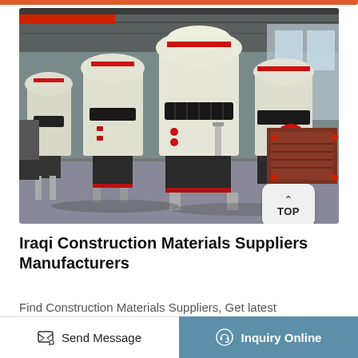[Figure (photo): Industrial grinding/milling machines in a factory warehouse — large white cylindrical machines with red accents and black gear rings, lined up in a grey steel-framed building]
Iraqi Construction Materials Suppliers Manufacturers
Find Construction Materials Suppliers, Get latest
Send Message   Inquiry Online